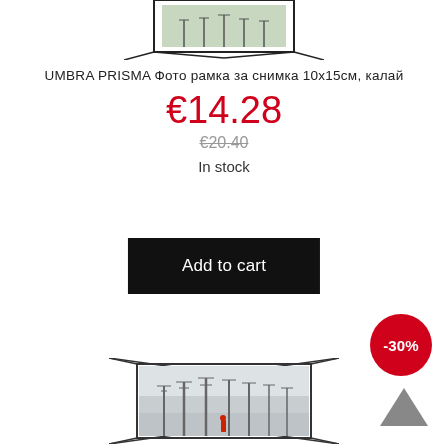[Figure (photo): Top portion of an Umbra Prisma geometric wire photo frame (cropped, only bottom part visible) showing a landscape photo inside.]
UMBRA PRISMA Фото рамка за снимка 10x15см, калай
€14.28
€20.40
In stock
Add to cart
-30%
[Figure (photo): Umbra Prisma geometric wire photo frame in dark/pewter color holding a landscape photo of misty trees with a red figure.]